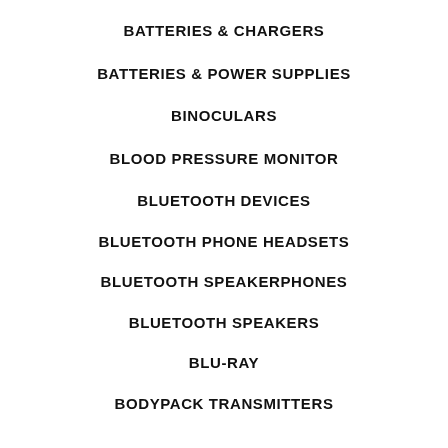BATTERIES & CHARGERS
BATTERIES & POWER SUPPLIES
BINOCULARS
BLOOD PRESSURE MONITOR
BLUETOOTH DEVICES
BLUETOOTH PHONE HEADSETS
BLUETOOTH SPEAKERPHONES
BLUETOOTH SPEAKERS
BLU-RAY
BODYPACK TRANSMITTERS